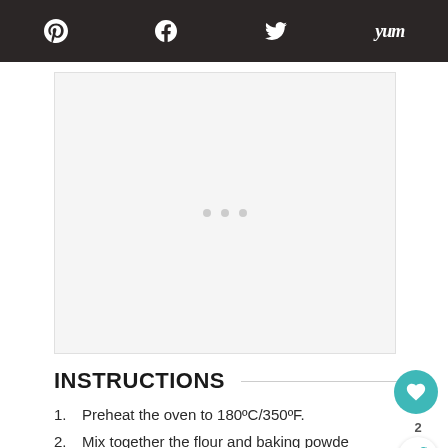Pinterest Facebook Twitter Yummly social share bar
[Figure (other): Advertisement placeholder area with three grey dots indicating loading content]
INSTRUCTIONS
Preheat the oven to 180ºC/350ºF.
Mix together the flour and baking powder and set aside.